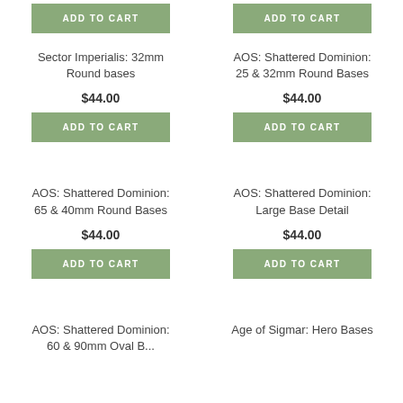ADD TO CART
ADD TO CART
Sector Imperialis: 32mm Round bases
AOS: Shattered Dominion: 25 & 32mm Round Bases
$44.00
$44.00
ADD TO CART
ADD TO CART
AOS: Shattered Dominion: 65 & 40mm Round Bases
AOS: Shattered Dominion: Large Base Detail
$44.00
$44.00
ADD TO CART
ADD TO CART
AOS: Shattered Dominion: 60 & 90mm Oval B...
Age of Sigmar: Hero Bases